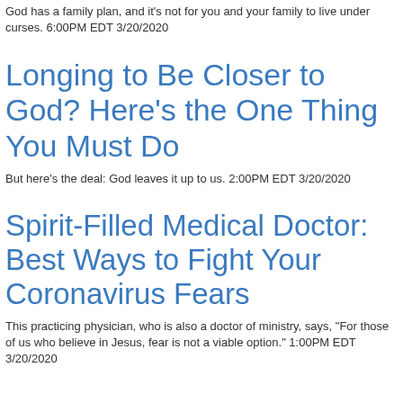God has a family plan, and it's not for you and your family to live under curses. 6:00PM EDT 3/20/2020
Longing to Be Closer to God? Here's the One Thing You Must Do
But here's the deal: God leaves it up to us. 2:00PM EDT 3/20/2020
Spirit-Filled Medical Doctor: Best Ways to Fight Your Coronavirus Fears
This practicing physician, who is also a doctor of ministry, says, "For those of us who believe in Jesus, fear is not a viable option." 1:00PM EDT 3/20/2020